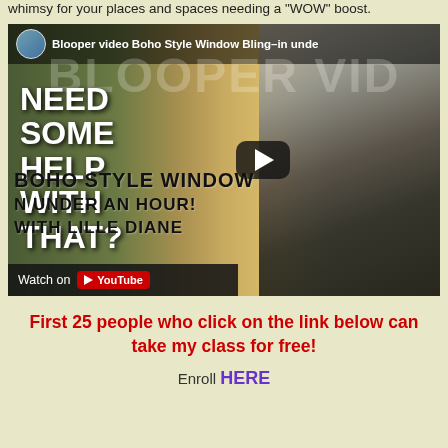whimsy for your places and spaces needing a "WOW" boost.
[Figure (screenshot): YouTube video thumbnail for 'Blooper video Boho Style Window Bling–in under an hour! with Lille Diane'. Shows a cat lying on its back, text overlay reading NEED SOME HELP WITH THAT? BOHO STYLE WINDOW in under an hour! with Lille Diane. Play button in center. Watch on YouTube button at bottom left.]
First 25 people who click on the link below can take my class for free!
Enroll HERE